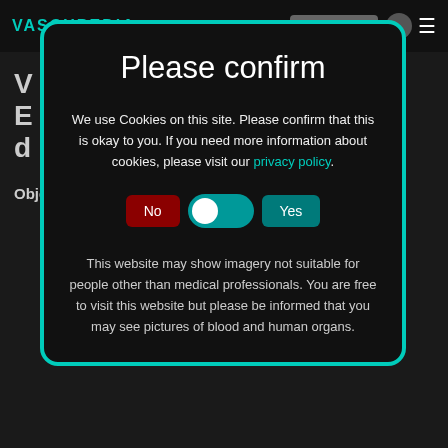[Figure (screenshot): Website navigation bar with VASCUPEDIA logo in teal, search bar, user icon, and hamburger menu on dark background]
We use Cookies on this site. Please confirm that this is okay to you. If you need more information about cookies, please visit our privacy policy.
Please confirm
This website may show imagery not suitable for people other than medical professionals. You are free to visit this website but please be informed that you may see pictures of blood and human organs.
Objectives: